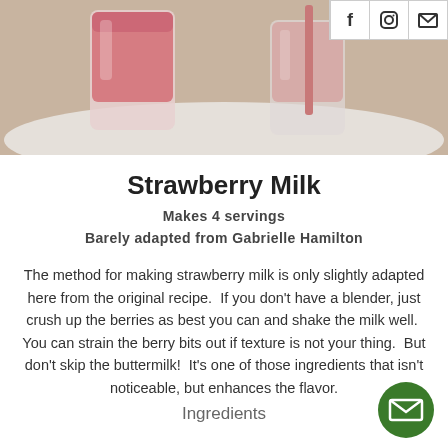[Figure (photo): Strawberry milk drinks in glass jars on a white cloth, pink smoothie visible]
Strawberry Milk
Makes 4 servings
Barely adapted from Gabrielle Hamilton
The method for making strawberry milk is only slightly adapted here from the original recipe.  If you don't have a blender, just crush up the berries as best you can and shake the milk well.  You can strain the berry bits out if texture is not your thing.  But don't skip the buttermilk!  It's one of those ingredients that isn't noticeable, but enhances the flavor.
Ingredients